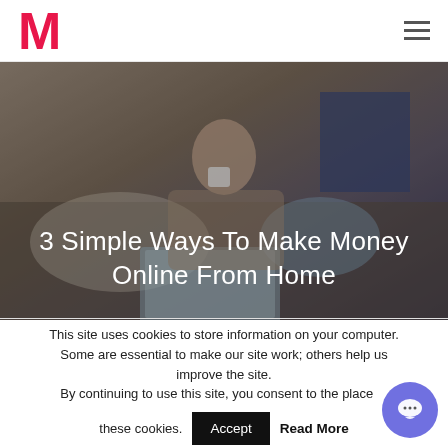M
[Figure (photo): Woman sitting on a couch with a laptop, holding a mug, with a blurred background of pillows and a tablet. Hero image for article about making money online.]
3 Simple Ways To Make Money Online From Home
This site uses cookies to store information on your computer. Some are essential to make our site work; others help us improve the site. By continuing to use this site, you consent to the place of these cookies.
Accept  Read More